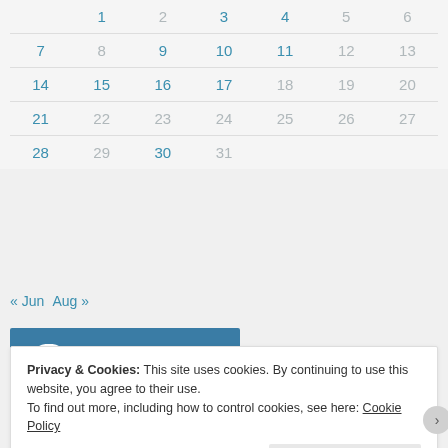|  | 1 | 2 | 3 | 4 | 5 | 6 |
| --- | --- | --- | --- | --- | --- | --- |
| 7 | 8 | 9 | 10 | 11 | 12 | 13 |
| 14 | 15 | 16 | 17 | 18 | 19 | 20 |
| 21 | 22 | 23 | 24 | 25 | 26 | 27 |
| 28 | 29 | 30 | 31 |  |  |  |
« Jun   Aug »
[Figure (logo): Featured on Freshly Pressed WordPress badge]
Privacy & Cookies: This site uses cookies. By continuing to use this website, you agree to their use.
To find out more, including how to control cookies, see here: Cookie Policy
Close and accept